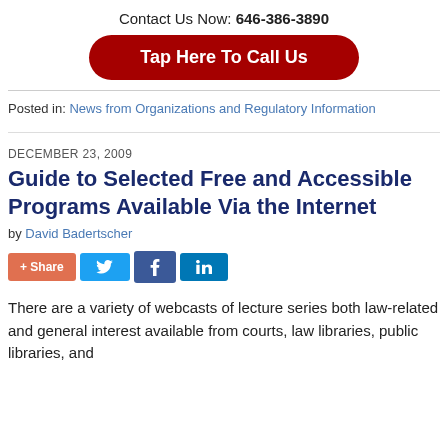Contact Us Now: 646-386-3890
[Figure (other): Red rounded button with text 'Tap Here To Call Us']
Posted in: News from Organizations and Regulatory Information
DECEMBER 23, 2009
Guide to Selected Free and Accessible Programs Available Via the Internet
by David Badertscher
[Figure (other): Social sharing buttons: + Share, Twitter, Facebook, LinkedIn]
There are a variety of webcasts of lecture series both law-related and general interest available from courts, law libraries, public libraries, and